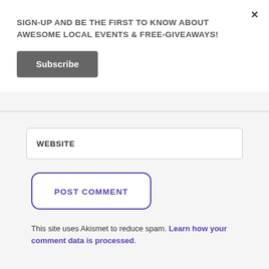×
SIGN-UP AND BE THE FIRST TO KNOW ABOUT AWESOME LOCAL EVENTS & FREE-GIVEAWAYS!
Subscribe
WEBSITE
POST COMMENT
This site uses Akismet to reduce spam. Learn how your comment data is processed.